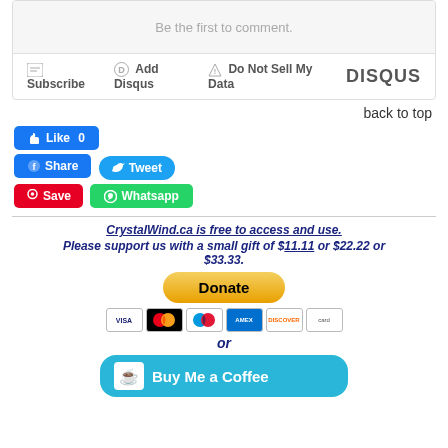Be the first to comment.
Subscribe  Add Disqus  Do Not Sell My Data   DISQUS
back to top
[Figure (other): Social media buttons: Like 0 (Facebook), Share (Facebook), Tweet (Twitter), Save (Pinterest), Whatsapp (WhatsApp)]
CrystalWind.ca is free to access and use.
Please support us with a small gift of $11.11 or $22.22 or $33.33.
[Figure (other): Donate button (gold/yellow rounded button)]
[Figure (other): Payment icons: Visa, Mastercard, Maestro, American Express, Discover, and another card]
or
[Figure (other): Buy Me a Coffee button (teal/cyan rounded button)]